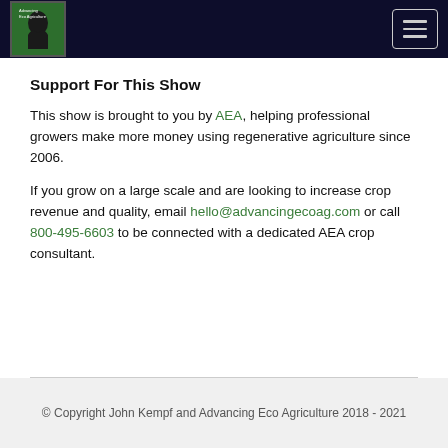Navigation bar with logo and hamburger menu
Support For This Show
This show is brought to you by AEA, helping professional growers make more money using regenerative agriculture since 2006.
If you grow on a large scale and are looking to increase crop revenue and quality, email hello@advancingecoag.com or call 800-495-6603 to be connected with a dedicated AEA crop consultant.
© Copyright John Kempf and Advancing Eco Agriculture 2018 - 2021